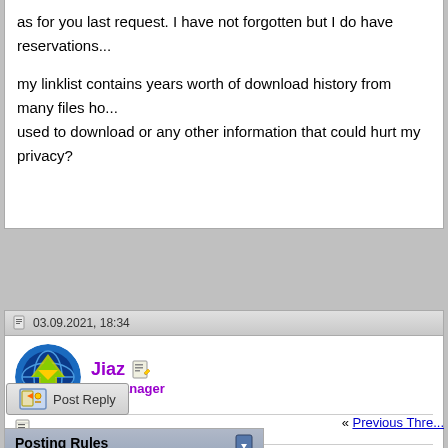as for you last request. I have not forgotten but I do have reservations...
my linklist contains years worth of download history from many files ho... used to download or any other information that could hurt my privacy?
03.09.2021, 18:34
Jiaz
JD Manager
@fuknuckle: didn't find time yet, will read/answer by next week
JD-Dev & Server-Admin
Post Reply
« Previous Thre...
Posting Rules